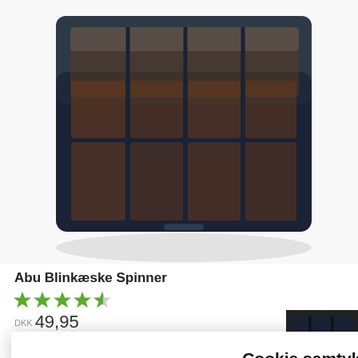[Figure (photo): Overhead photo of an Abu Blinkæske Spinner fishing tackle box with dark navy/black hard plastic shell and brown/smoked transparent compartments with dividers, partially open showing the interior grid.]
Abu Blinkæske Spinner
[Figure (other): Star rating: 4.5 out of 5 green stars]
DKK 49,95
Cookie samtykke
Denne hjemmeside bruger cookies til at forbedre din oplevelse.
Cookie indstillinger
Tillad
[Figure (photo): Partial view of another dark fishing tackle box at the bottom right corner of the page.]